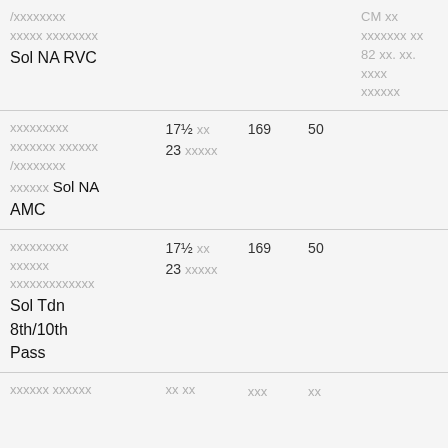| /xxxxxxxx
xxxxx xxxxxxxx
Sol NA RVC |  |  |  | CM xx
xxxxxxx xx
82 xx. xx.
xxxx
xxxxxx |
| xxxxxxxxx
xxxxxxx xxxxxx
/xxxxxxxx
xxxxxx Sol NA AMC | 17½ xx
23 xxxxx | 169 | 50 |  |
| xxxxxxxxx
xxxxxx
xxxxxxxxxxxxx
Sol Tdn 8th/10th Pass | 17½ xx
23 xxxxx | 169 | 50 |  |
| xxxxxx xxxxxx | xx xx | xxx | xx |  |